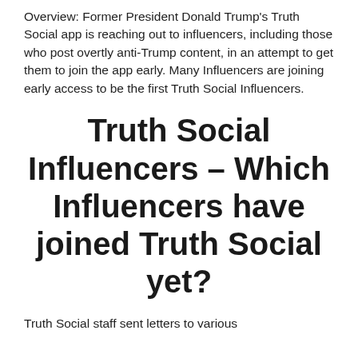Overview: Former President Donald Trump's Truth Social app is reaching out to influencers, including those who post overtly anti-Trump content, in an attempt to get them to join the app early. Many Influencers are joining early access to be the first Truth Social Influencers.
Truth Social Influencers – Which Influencers have joined Truth Social yet?
Truth Social staff sent letters to various